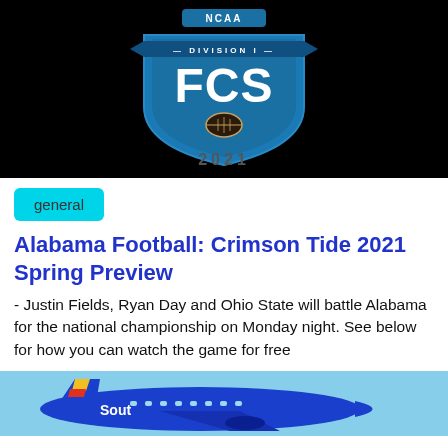[Figure (logo): NCAA Division I FCS 2021 logo on black background — a blue shield shape with 'NCAA' at top, 'DIVISION I' banner, large 'FCS' lettering, football icon, and '2021' below]
general
Alabama Football: Crimson Tide 2021 Spring Preview
- Justin Fields, Ryan Day and Ohio State will battle Alabama for the national championship on Monday night. See below for how you can watch the game for free
[Figure (photo): Blue Southwest Airlines airplane in flight against a light blue sky]